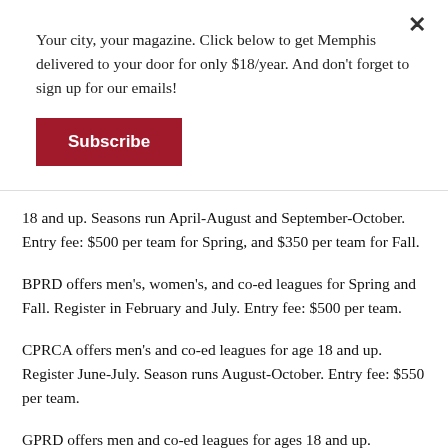Your city, your magazine. Click below to get Memphis delivered to your door for only $18/year. And don't forget to sign up for our emails!
Subscribe
18 and up. Seasons run April-August and September-October. Entry fee: $500 per team for Spring, and $350 per team for Fall.
BPRD offers men's, women's, and co-ed leagues for Spring and Fall. Register in February and July. Entry fee: $500 per team.
CPRCA offers men's and co-ed leagues for age 18 and up. Register June-July. Season runs August-October. Entry fee: $550 per team.
GPRD offers men and co-ed leagues for ages 18 and up.